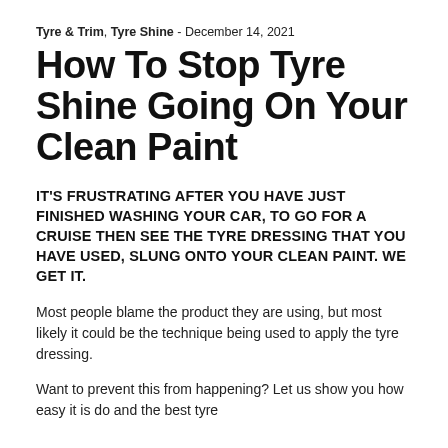Tyre & Trim, Tyre Shine - December 14, 2021
How To Stop Tyre Shine Going On Your Clean Paint
IT'S FRUSTRATING AFTER YOU HAVE JUST FINISHED WASHING YOUR CAR, TO GO FOR A CRUISE THEN SEE THE TYRE DRESSING THAT YOU HAVE USED, SLUNG ONTO YOUR CLEAN PAINT. WE GET IT.
Most people blame the product they are using, but most likely it could be the technique being used to apply the tyre dressing.
Want to prevent this from happening? Let us show you how easy it is do and the best tyre